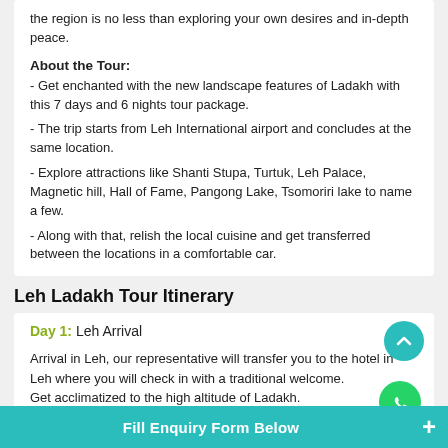the region is no less than exploring your own desires and in-depth peace.
About the Tour:
- Get enchanted with the new landscape features of Ladakh with this 7 days and 6 nights tour package.
- The trip starts from Leh International airport and concludes at the same location.
- Explore attractions like Shanti Stupa, Turtuk, Leh Palace, Magnetic hill, Hall of Fame, Pangong Lake, Tsomoriri lake to name a few.
- Along with that, relish the local cuisine and get transferred between the locations in a comfortable car.
Leh Ladakh Tour Itinerary
Day 1:  Leh Arrival
Arrival in Leh, our representative will transfer you to the hotel in Leh where you will check in with a traditional welcome.
Get acclimatized to the high altitude of Ladakh.
Fill Enquiry Form Below